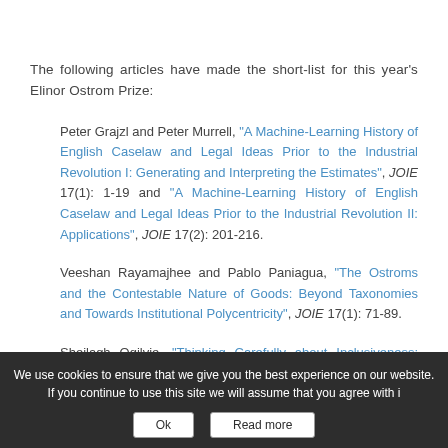The following articles have made the short-list for this year's Elinor Ostrom Prize:
Peter Grajzl and Peter Murrell, "A Machine-Learning History of English Caselaw and Legal Ideas Prior to the Industrial Revolution I: Generating and Interpreting the Estimates", JOIE 17(1): 1-19 and "A Machine-Learning History of English Caselaw and Legal Ideas Prior to the Industrial Revolution II: Applications", JOIE 17(2): 201-216.
Veeshan Rayamajhee and Pablo Paniagua, "The Ostroms and the Contestable Nature of Goods: Beyond Taxonomies and Towards Institutional Polycentricity", JOIE 17(1): 71-89.
Sheilagh Ogilvie, "Thinking Carefully about Inclusiveness: Evidence from European...
We use cookies to ensure that we give you the best experience on our website. If you continue to use this site we will assume that you agree with i